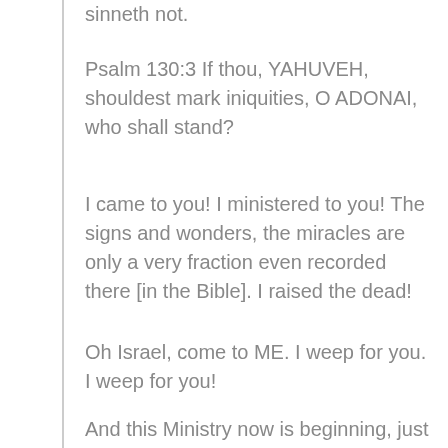sinneth not.
Psalm 130:3 If thou, YAHUVEH, shouldest mark iniquities, O ADONAI, who shall stand?
I came to you! I ministered to you! The signs and wonders, the miracles are only a very fraction even recorded there [in the Bible]. I raised the dead!
Oh Israel, come to ME. I weep for you. I weep for you!
And this Ministry now is beginning, just